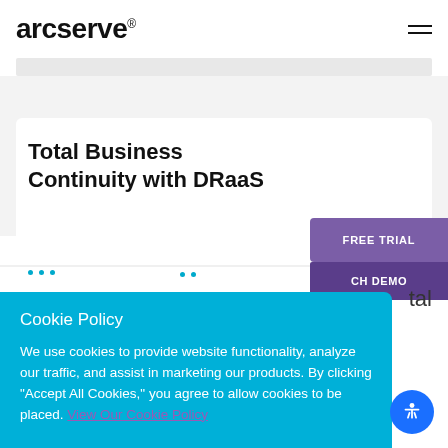arcserve
Total Business Continuity with DRaaS
FREE TRIAL
CH DEMO
tal
Cookie Policy
We use cookies to provide website functionality, analyze our traffic, and assist in marketing our products. By clicking "Accept All Cookies," you agree to allow cookies to be placed. View Our Cookie Policy